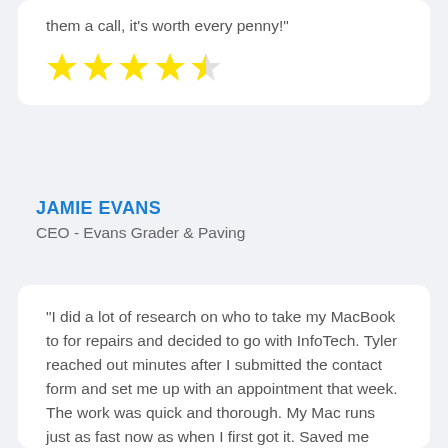them a call, it's worth every penny!"
[Figure (other): 4.5 out of 5 stars rating (4 full yellow stars and 1 half star)]
JAMIE EVANS
CEO - Evans Grader & Paving
"I did a lot of research on who to take my MacBook to for repairs and decided to go with InfoTech. Tyler reached out minutes after I submitted the contact form and set me up with an appointment that week. The work was quick and thorough. My Mac runs just as fast now as when I first got it. Saved me from having to upgrade!